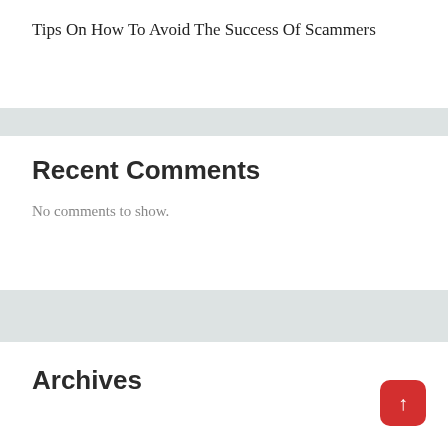Tips On How To Avoid The Success Of Scammers
Recent Comments
No comments to show.
Archives